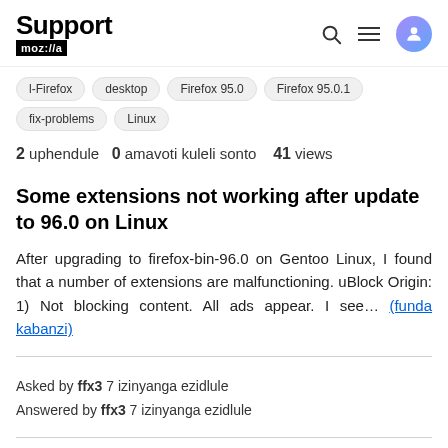Support mozilla// [search icon] [menu icon] [user icon]
l-Firefox
desktop
Firefox 95.0
Firefox 95.0.1
fix-problems
Linux
2 uphendule  0 amavoti kuleli sonto  41 views
Some extensions not working after update to 96.0 on Linux
After upgrading to firefox-bin-96.0 on Gentoo Linux, I found that a number of extensions are malfunctioning. uBlock Origin: 1) Not blocking content. All ads appear. I see... (funda kabanzi)
Asked by ffx3 7 izinyanga ezidlule
Answered by ffx3 7 izinyanga ezidlule